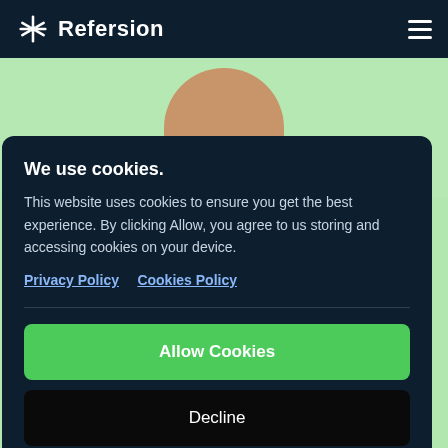Refersion
[Figure (photo): Person's head/face partially visible against a light green background, cropped at top of cookie consent overlay]
We use cookies.
This website uses cookies to ensure you get the best experience. By clicking Allow, you agree to us storing and accessing cookies on your device.
Privacy Policy   Cookies Policy
Allow Cookies
Decline